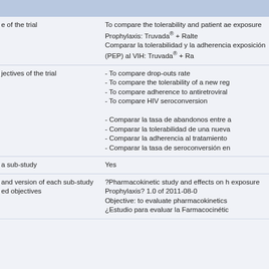| Field | Value |
| --- | --- |
| e of the trial | To compare the tolerability and patient ae exposure Prophylaxis: Truvada® + Ralte
Comparar la tolerabilidad y la adherencia exposición (PEP) al VIH: Truvada® + Ra |
| jectives of the trial | - To compare drop-outs rate
- To compare the tolerability of a new reg
- To compare adherence to antiretroviral
- To compare HIV seroconversion
- Comparar la tasa de abandonos entre a
- Comparar la tolerabilidad de una nueva
- Comparar la adherencia al tratamiento
- Comparar la tasa de seroconversión en |
| a sub-study | Yes |
| and version of each sub-study ed objectives | ?Pharmacokinetic study and effects on h exposure Prophylaxis? 1.0 of 2011-08-0
Objective: to evaluate pharmacokinetics
¿Estudio para evaluar la Farmacocinétic |